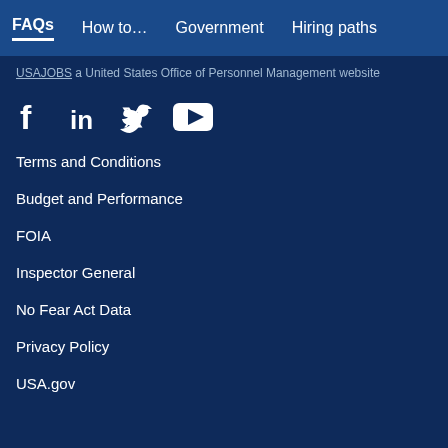FAQs  How to…  Government  Hiring paths
USAJOBS a United States Office of Personnel Management website
[Figure (other): Social media icons: Facebook, LinkedIn, Twitter, YouTube]
Terms and Conditions
Budget and Performance
FOIA
Inspector General
No Fear Act Data
Privacy Policy
USA.gov